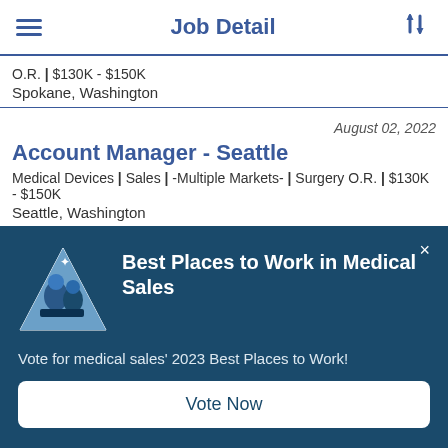Job Detail
O.R. | $130K - $150K
Spokane, Washington
August 02, 2022
Account Manager - Seattle
Medical Devices | Sales | -Multiple Markets- | Surgery O.R. | $130K - $150K
Seattle, Washington
[Figure (infographic): Best Places to Work in Medical Sales popup banner with triangle logo icon, vote prompt text, and Vote Now button]
Vote for medical sales' 2023 Best Places to Work!
Vote Now